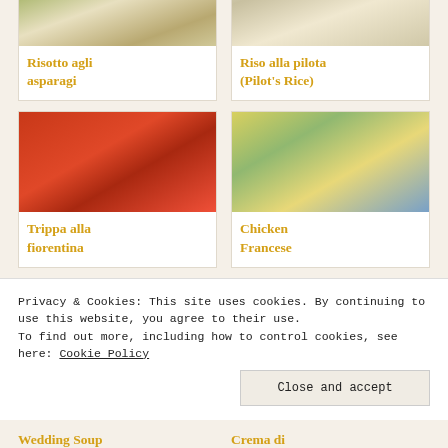[Figure (photo): Photo of risotto agli asparagi (asparagus risotto) in a white bowl]
Risotto agli asparagi
[Figure (photo): Photo of Riso alla pilota (Pilot's Rice) on a plate]
Riso alla pilota (Pilot's Rice)
[Figure (photo): Photo of Trippa alla fiorentina in tomato sauce in a white bowl]
Trippa alla fiorentina
[Figure (photo): Photo of Chicken Francese with lemon slices on a decorative plate]
Chicken Francese
Privacy & Cookies: This site uses cookies. By continuing to use this website, you agree to their use. To find out more, including how to control cookies, see here: Cookie Policy
Close and accept
Wedding Soup
Crema di